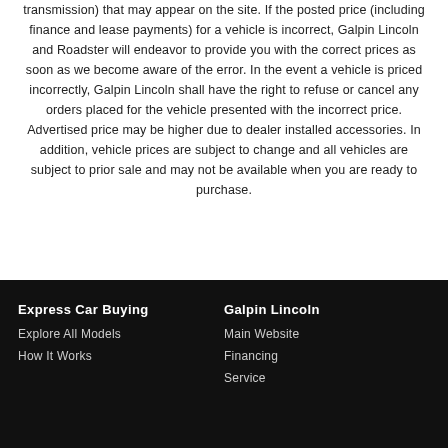transmission) that may appear on the site. If the posted price (including finance and lease payments) for a vehicle is incorrect, Galpin Lincoln and Roadster will endeavor to provide you with the correct prices as soon as we become aware of the error. In the event a vehicle is priced incorrectly, Galpin Lincoln shall have the right to refuse or cancel any orders placed for the vehicle presented with the incorrect price. Advertised price may be higher due to dealer installed accessories. In addition, vehicle prices are subject to change and all vehicles are subject to prior sale and may not be available when you are ready to purchase.
Express Car Buying
Explore All Models
How It Works
Galpin Lincoln
Main Website
Financing
Service